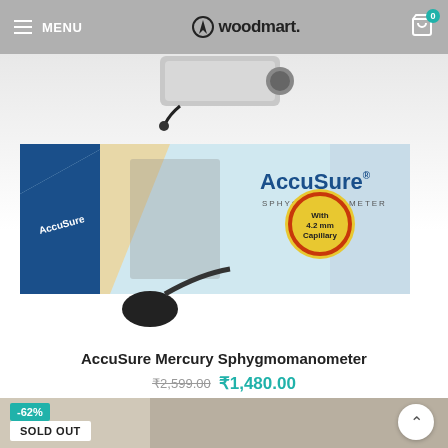MENU  woodmart.  0
[Figure (photo): AccuSure Mercury Sphygmomanometer product box with stethoscope, showing AccuSure branding and 'With 4.2mm Capillary' badge. Watermark text 'PillsBills.com' overlaid on image.]
AccuSure Mercury Sphygmomanometer
₹2,599.00  ₹1,480.00
[Figure (photo): Partially visible second product image (medical device/chair) with -62% discount badge and SOLD OUT label.]